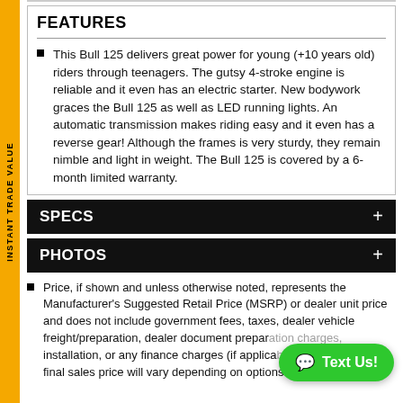FEATURES
This Bull 125 delivers great power for young (+10 years old) riders through teenagers. The gutsy 4-stroke engine is reliable and it even has an electric starter. New bodywork graces the Bull 125 as well as LED running lights. An automatic transmission makes riding easy and it even has a reverse gear! Although the frames is very sturdy, they remain nimble and light in weight. The Bull 125 is covered by a 6-month limited warranty.
SPECS
PHOTOS
Price, if shown and unless otherwise noted, represents the Manufacturer's Suggested Retail Price (MSRP) or dealer unit price and does not include government fees, taxes, dealer vehicle freight/preparation, dealer document preparation charges, installation, or any finance charges (if applicable). MSRP and/or final sales price will vary depending on options or accessories selected; contact dealer for more details.